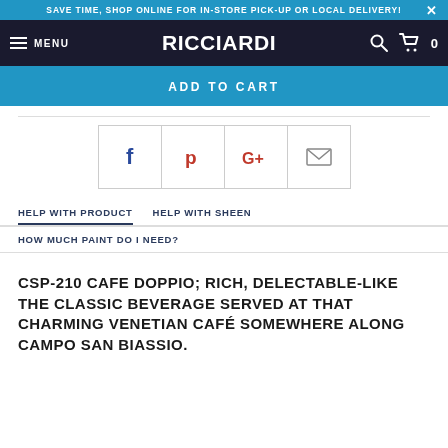SAVE TIME, SHOP ONLINE FOR IN-STORE PICK-UP OR LOCAL DELIVERY!
MENU  RICCIARDI
ADD TO CART
[Figure (infographic): Social sharing icons: Facebook (f), Pinterest (p), Google Plus (G+), Email (envelope)]
HELP WITH PRODUCT   HELP WITH SHEEN
HOW MUCH PAINT DO I NEED?
CSP-210 CAFE DOPPIO; RICH, DELECTABLE-LIKE THE CLASSIC BEVERAGE SERVED AT THAT CHARMING VENETIAN CAFÉ SOMEWHERE ALONG CAMPO SAN BIASSIO.